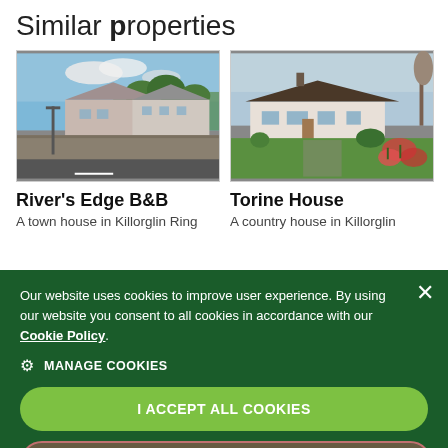Similar properties
[Figure (photo): Photo of River's Edge B&B, a town house building with stone wall in foreground, Killorglin Ring]
River's Edge B&B
A town house in Killorglin Ring
[Figure (photo): Photo of Torine House, a single-storey country house with garden and flowers in foreground, Killorglin]
Torine House
A country house in Killorglin
Our website uses cookies to improve user experience. By using our website you consent to all cookies in accordance with our Cookie Policy.
MANAGE COOKIES
I ACCEPT ALL COOKIES
USE NECESSARY COOKIES ONLY